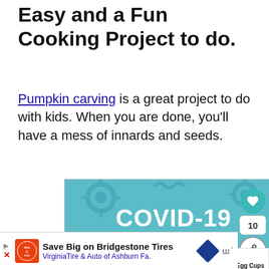Easy and a Fun Cooking Project to do.
Pumpkin carving is a great project to do with kids. When you are done, you'll have a mess of innards and seeds.
[Figure (screenshot): COVID-19 advertisement with teal background, squiggly virus patterns, large white COVID-19 text, and a dark blue 'GET THE FACTS' button]
[Figure (screenshot): Bridgestone Tires advertisement: 'Save Big on Bridgestone Tires — VirginiaTire & Auto of Ashburn Fa.']